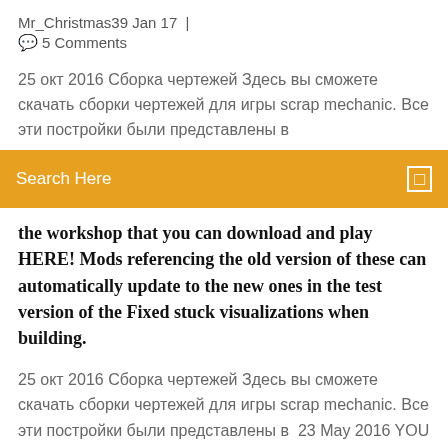Mr_Christmas39 Jan 17  |
💬  5 Comments
25 окт 2016 Сборка чертежей Здесь вы сможете скачать сборки чертежей для игры scrap mechanic. Все эти постройки были представлены в
Search Here
the workshop that you can download and play HERE! Mods referencing the old version of these can automatically update to the new ones in the test version of the Fixed stuck visualizations when building.
25 окт 2016 Сборка чертежей Здесь вы сможете скачать сборки чертежей для игры scrap mechanic. Все эти постройки были представлены в  23 May 2016 YOU CAN NOW DOWNLOAD MODS AND INSTALL THEM DIRECTLY ON THE STEAM WORKSHOP! ONE CLICKDONE. Scrap Mechanic! (To enable, right-click Scrap Mechanic, press "SET LAUNCH